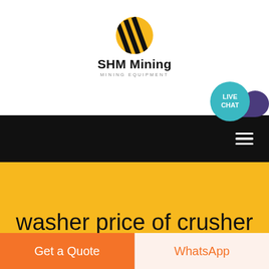[Figure (logo): SHM Mining logo with black diagonal stripes on yellow circle background, company name SHM Mining and subtitle MINING EQUIPMENT]
SHM Mining MINING EQUIPMENT
[Figure (infographic): LIVE CHAT bubble in teal circle with purple speech bubble icon, overlapping the navigation bar]
[Figure (infographic): Black navigation bar with white hamburger menu icon on right side]
washer price of crusher
...
Get a Quote   WhatsApp